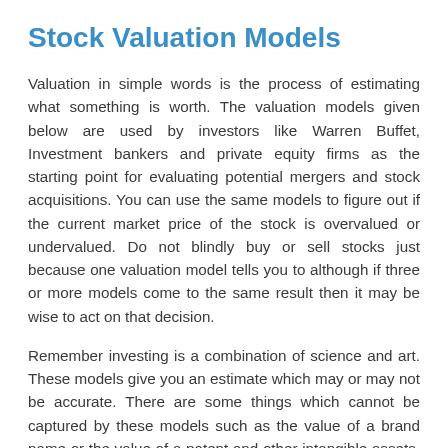Stock Valuation Models
Valuation in simple words is the process of estimating what something is worth. The valuation models given below are used by investors like Warren Buffet, Investment bankers and private equity firms as the starting point for evaluating potential mergers and stock acquisitions. You can use the same models to figure out if the current market price of the stock is overvalued or undervalued. Do not blindly buy or sell stocks just because one valuation model tells you to although if three or more models come to the same result then it may be wise to act on that decision.
Remember investing is a combination of science and art. These models give you an estimate which may or may not be accurate. There are some things which cannot be captured by these models such as the value of a brand name or the value of a patent and other intangible assets. So keeping these few things in mind explore the section below and see the real picture of the company as seen by market professionals.